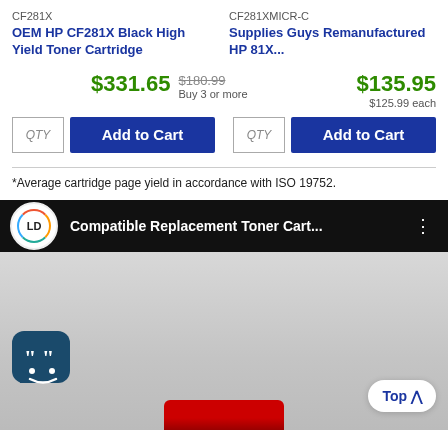CF281X
CF281XMICR-C
OEM HP CF281X Black High Yield Toner Cartridge
Supplies Guys Remanufactured HP 81X...
$331.65
$180.99 Buy 3 or more
$135.95 $125.99 each
QTY
Add to Cart
QTY
Add to Cart
*Average cartridge page yield in accordance with ISO 19752.
[Figure (screenshot): Video thumbnail with LD logo showing 'Compatible Replacement Toner Cart...' with options menu dots]
[Figure (photo): Video preview area showing a partial toner cartridge, chat icon, and a 'Top' button]